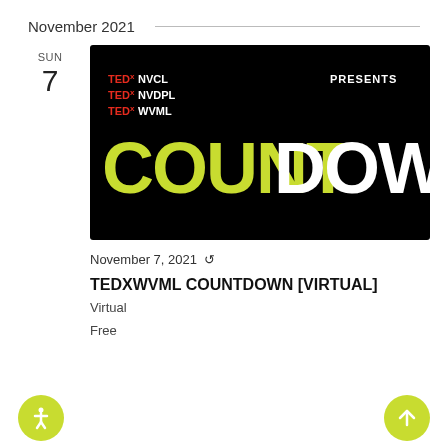November 2021
SUN
7
[Figure (photo): TEDx NVCL, TEDx NVDPL, TEDx WVML PRESENTS COUNTDOWN — black background with yellow 'COUNT' and white 'DOWN' large bold text]
November 7, 2021
TEDXWVML COUNTDOWN [VIRTUAL]
Virtual
Free